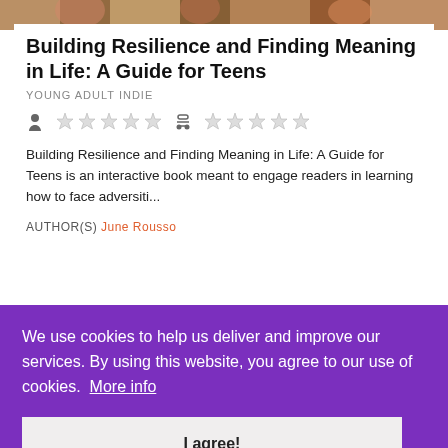[Figure (illustration): Top banner image showing illustrated teens/people in colorful style]
Building Resilience and Finding Meaning in Life: A Guide for Teens
YOUNG ADULT INDIE
[Figure (infographic): Two rating rows with person icons and star rating symbols]
Building Resilience and Finding Meaning in Life: A Guide for Teens is an interactive book meant to engage readers in learning how to face adversiti...
AUTHOR(S) June Rousso
We use cookies to help us deliver and improve our services. By using this website, you agree to our use of cookies.  More info
I agree!
[Figure (illustration): Bottom banner showing partial illustrated image with yellow text/logo]